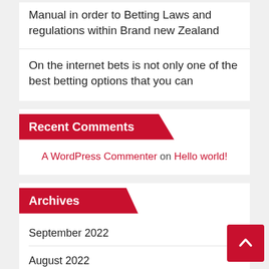Manual in order to Betting Laws and regulations within Brand new Zealand
On the internet bets is not only one of the best betting options that you can
Recent Comments
A WordPress Commenter on Hello world!
Archives
September 2022
August 2022